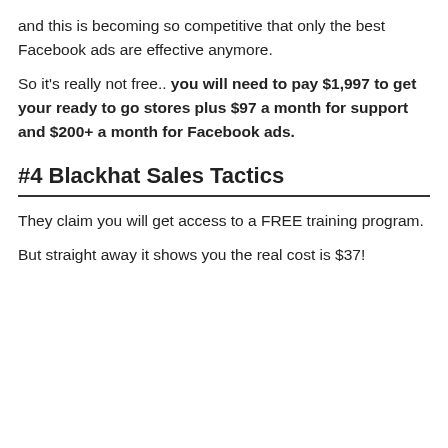and this is becoming so competitive that only the best Facebook ads are effective anymore.
So it’s really not free.. you will need to pay $1,997 to get your ready to go stores plus $97 a month for support and $200+ a month for Facebook ads.
#4 Blackhat Sales Tactics
They claim you will get access to a FREE training program.
But straight away it shows you the real cost is $37!